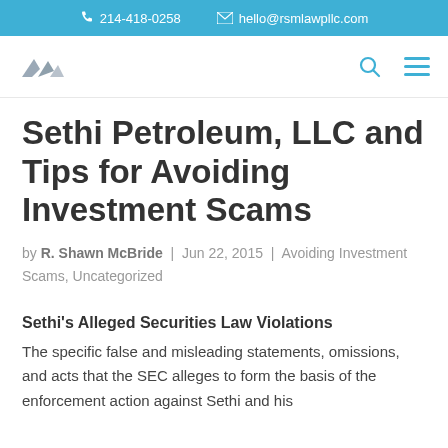📞 214-418-0258   ✉ hello@rsmlawpllc.com
[Figure (logo): RSM Law firm logo — stylized mountain/chevron shapes in grey]
Sethi Petroleum, LLC and Tips for Avoiding Investment Scams
by R. Shawn McBride | Jun 22, 2015 | Avoiding Investment Scams, Uncategorized
Sethi's Alleged Securities Law Violations
The specific false and misleading statements, omissions, and acts that the SEC alleges to form the basis of the enforcement action against Sethi and his